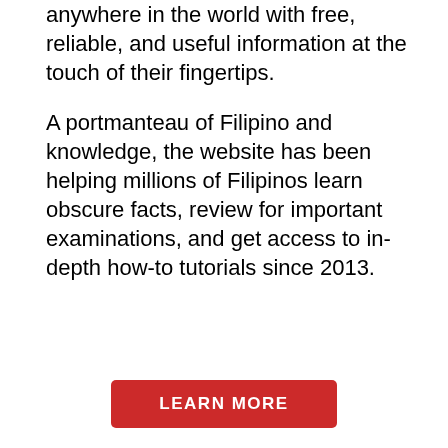anywhere in the world with free, reliable, and useful information at the touch of their fingertips.
A portmanteau of Filipino and knowledge, the website has been helping millions of Filipinos learn obscure facts, review for important examinations, and get access to in-depth how-to tutorials since 2013.
LEARN MORE
COPYRIGHT NOTICE
All materials contained on this site are protected by the Republic of the Philippines copyright law and may not be reproduced, distributed, transmitted, displayed, published, or broadcast without the prior written permission of Filipiknow or in the case of